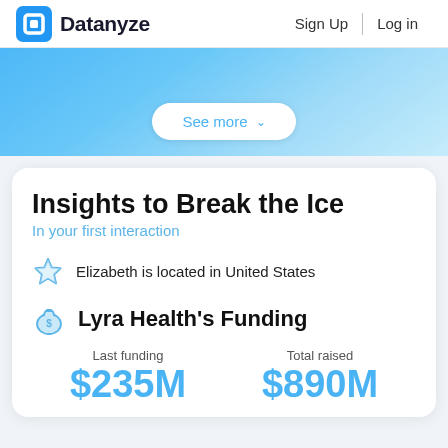Datanyze   Sign Up   Log in
[Figure (other): Blue gradient section with a 'See more' pill button]
Insights to Break the Ice
In your first interaction
Elizabeth is located in United States
Lyra Health's Funding
Last funding   $235M   Total raised   $890M